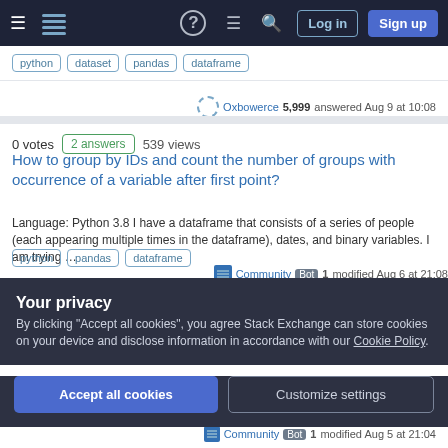Stack Overflow navigation bar with Log in and Sign up buttons
python dataset pandas dataframe
Oxbowerce 5,999 answered Aug 9 at 10:08
0 votes 2 answers 539 views
How to group by IDs and count the number of groups with occurrence of a variable after first point?
Language: Python 3.8 I have a dataframe that consists of a series of people (each appearing multiple times in the dataframe), dates, and binary variables. I am trying …
python pandas dataframe
Community Bot 1 modified Aug 6 at 21:08
Your privacy
By clicking "Accept all cookies", you agree Stack Exchange can store cookies on your device and disclose information in accordance with our Cookie Policy.
Accept all cookies  Customize settings
Community Bot 1 modified Aug 5 at 21:04